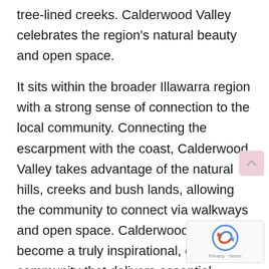tree-lined creeks. Calderwood Valley celebrates the region's natural beauty and open space.
It sits within the broader Illawarra region with a strong sense of connection to the local community. Connecting the escarpment with the coast, Calderwood Valley takes advantage of the natural hills, creeks and bush lands, allowing the community to connect via walkways and open space. Calderwood Valley will become a truly inspirational, connected community that delivers essential facilities to support local social connection, sport and recreation, retail, education and business.